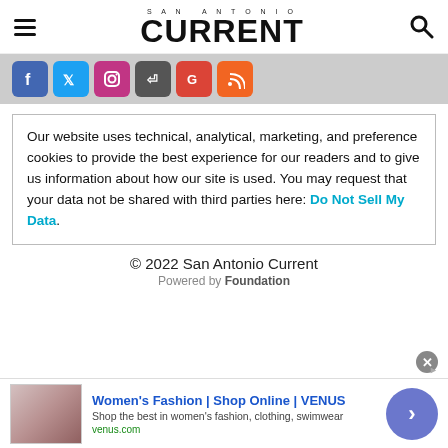SAN ANTONIO CURRENT
[Figure (logo): San Antonio Current logo with hamburger menu icon on left and search icon on right]
[Figure (infographic): Social media icons bar: Facebook, Twitter, Instagram, Apple News, Google News, RSS]
Our website uses technical, analytical, marketing, and preference cookies to provide the best experience for our readers and to give us information about how our site is used. You may request that your data not be shared with third parties here: Do Not Sell My Data.
© 2022 San Antonio Current
Powered by Foundation
[Figure (infographic): Advertisement banner: Women's Fashion | Shop Online | VENUS - Shop the best in women's fashion, clothing, swimwear - venus.com]